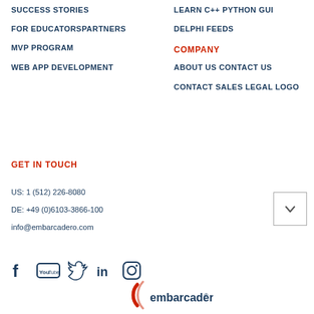SUCCESS STORIES
FOR EDUCATORSPARTNERS
MVP PROGRAM
WEB APP DEVELOPMENT
LEARN C++ PYTHON GUI
DELPHI FEEDS
COMPANY
ABOUT US CONTACT US
CONTACT SALES LEGAL LOGO
GET IN TOUCH
US: 1 (512) 226-8080
DE: +49 (0)6103-3866-100
info@embarcadero.com
[Figure (other): Dropdown/chevron button widget]
[Figure (other): Social media icons: Facebook, YouTube, Twitter, LinkedIn, Instagram]
[Figure (logo): Embarcadero logo with red arc and dark text]